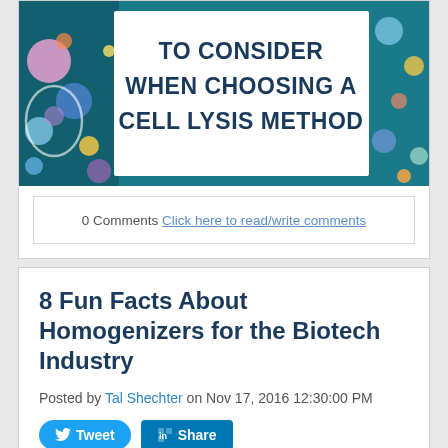[Figure (illustration): Banner image with teal/blue background featuring cell biology imagery and bold text reading 'TO CONSIDER WHEN CHOOSING A CELL LYSIS METHOD']
0 Comments  Click here to read/write comments
8 Fun Facts About Homogenizers for the Biotech Industry
Posted by Tal Shechter on Nov 17, 2016 12:30:00 PM
As more